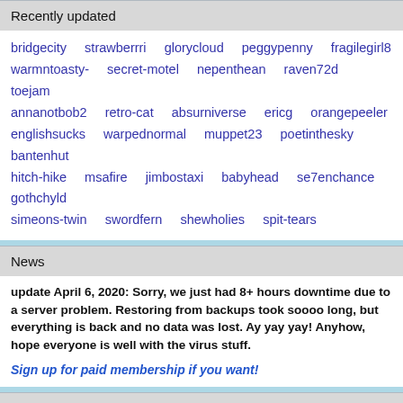Recently updated
bridgecity strawberrri glorycloud peggypenny fragilegirl8 warmntoasty- secret-motel nepenthean raven72d toejam annanotbob2 retro-cat absurniverse ericg orangepeeler englishsucks warpednormal muppet23 poetinthesky bantenhut hitch-hike msafire jimbostaxi babyhead se7enchance gothchyld simeons-twin swordfern shewholies spit-tears
News
update April 6, 2020: Sorry, we just had 8+ hours downtime due to a server problem. Restoring from backups took soooo long, but everything is back and no data was lost. Ay yay yay! Anyhow, hope everyone is well with the virus stuff.
Sign up for paid membership if you want!
Users online
spit-tears whitepigeon bridgecity strawberrri swordfern chakra-nadi shrishti jimbostaxi drtourist onepinksock